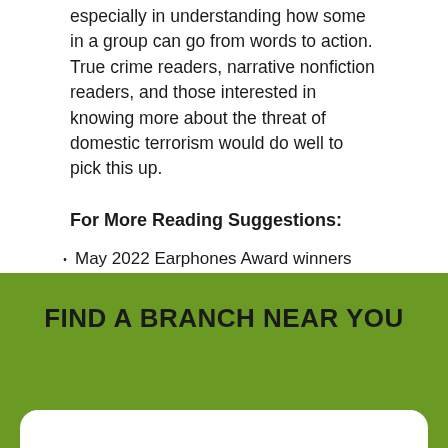especially in understanding how some in a group can go from words to action. True crime readers, narrative nonfiction readers, and those interested in knowing more about the threat of domestic terrorism would do well to pick this up.
For More Reading Suggestions:
May 2022 Earphones Award winners from Audiofile
All the New Science Fiction Books Arriving in May from Tor.com
May's most anticipated books from The Millions
FIND A BRANCH NEAR YOU